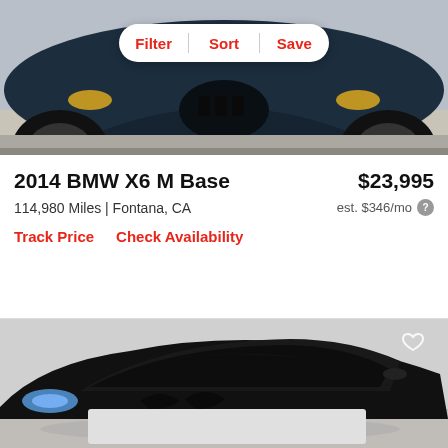[Figure (photo): Close-up front view of a dark navy/black BMW X6 M SUV, showing the front grille, hood and front wheels on a concrete surface]
Filter  Sort  Save
2014 BMW X6 M Base
$23,995
114,980 Miles | Fontana, CA
est. $346/mo ?
Track Price   Check Availability
[Figure (photo): Side/front 3/4 view of a black BMW sedan on a gray background, with a heart/save icon in the top right corner, and a blurred/redacted rectangle at the bottom]